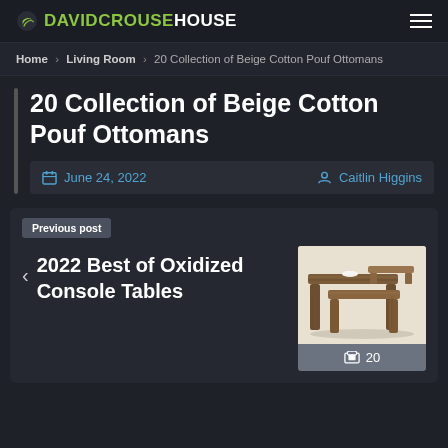DAVIDCROUSEHOUSE
Home › Living Room › 20 Collection of Beige Cotton Pouf Ottomans
20 Collection of Beige Cotton Pouf Ottomans
June 24, 2022  Caitlin Higgins
Previous post
2022 Best of Oxidized Console Tables
[Figure (photo): Wooden oxidized console tables stacked, photographed on a light background]
20